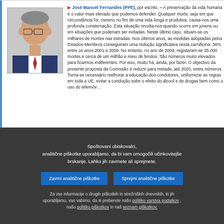[Figure (photo): Portrait photo of José Manuel Fernandes, a middle-aged man with glasses wearing a suit and tie]
▶ José Manuel Fernandes (PPE), por escrito. – A preservação da vida humana é o valor mais elevado que podemos defender. Qualquer morte, seja em que circunstância for, mesmo no fim de uma vida longa e produtiva, causa-nos uma profunda consternação. Esta situação revolta-nos quando ocorre em jovens ou em situações que poderiam ser evitadas. Neste último caso, situam-se os milhares de mortes nas estradas. Nos últimos anos, as medidas adoptadas pelos Estados-Membros conseguiram uma redução significativa nesta carnificina: 36% entre os anos 2001 e 2009. No entanto, no ano de 2009, registaram-se 35.000 mortes e cerca de um milhão e meio de feridos. São números muito elevados para ficarmos indiferentes. Por isso, muito há, ainda, por fazer. O objectivo da presente proposta da Comissão é reduzir para metade, até 2020, estes números. Torna-se necessário melhorar a educação dos condutores, uniformizar as regras em toda a UE, evitar a condução sobe o efeito do álcool e de drogas bem como o uso do telemóv...
Spoštovani obiskovalci, analitične piškotke uporabljamo, da bi vam omogočili učinkovitejše brskanje. Lahko jih zavrnete ali sprejmete.
Zavrni analitične piškotke
Sprejmi analitične piškotke
Za vse informacije o drugih piškotkih in strežniških dnevnikih, ki jih uporabljamo, vas vabimo, da si preberete našo politiko varstva podatkov , našo politiko piškotkov in naš seznam piškotkov.